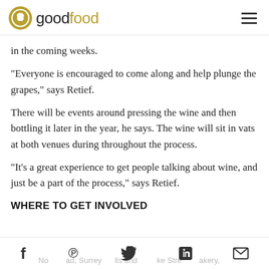good food
in the coming weeks.
“Everyone is encouraged to come along and help plunge the grapes,” says Retief.
There will be events around pressing the wine and then bottling it later in the year, he says. The wine will sit in vats at both venues during throughout the process.
“It’s a great experience to get people talking about wine, and just be a part of the process,” says Retief.
WHERE TO GET INVOLVED
No ad, Surrey Hills and Cake Street Bakery, B...